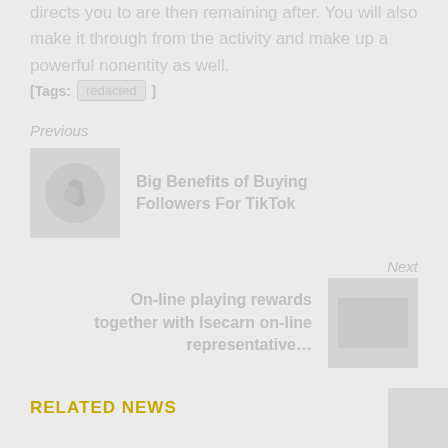directs you to are then remaining after. You will also make it through from the activity and make up a powerful nonentity as well.
Tags: [redacted]
Previous
[Figure (logo): TikTok logo thumbnail image, circular icon on grey background]
Big Benefits of Buying Followers For TikTok
Next
On-line playing rewards together with lsecarn on-line representative…
[Figure (photo): Small grey thumbnail image for next article]
RELATED NEWS